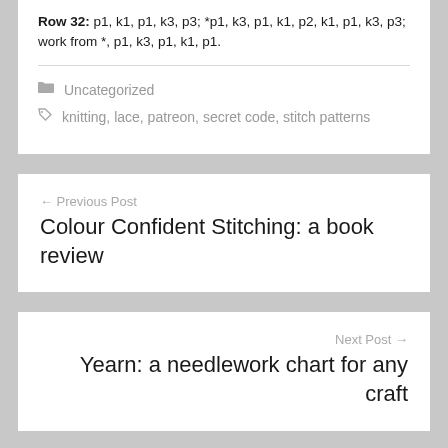Row 32: p1, k1, p1, k3, p3; *p1, k3, p1, k1, p2, k1, p1, k3, p3; work from *, p1, k3, p1, k1, p1.
Uncategorized
knitting, lace, patreon, secret code, stitch patterns
← Previous Post
Colour Confident Stitching: a book review
Next Post →
Yearn: a needlework chart for any craft